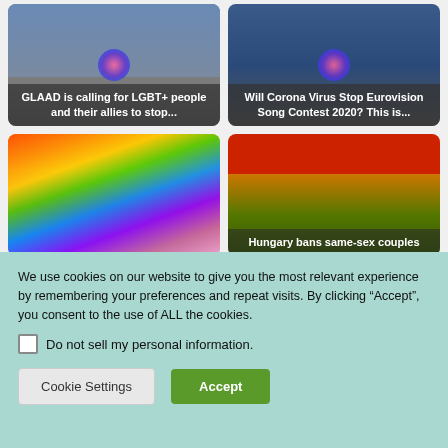[Figure (photo): Article card with woman photo - GLAAD is calling for LGBT+ people and their allies to stop...]
[Figure (photo): Article card with Eurovision venue - Will Corona Virus Stop Eurovision Song Contest 2020? This is...]
[Figure (photo): Article card with rainbow umbrella and children - LGBT related article]
[Figure (photo): Article card with Hungarian flag colors - Hungary bans same-sex couples]
We use cookies on our website to give you the most relevant experience by remembering your preferences and repeat visits. By clicking “Accept”, you consent to the use of ALL the cookies.
Do not sell my personal information.